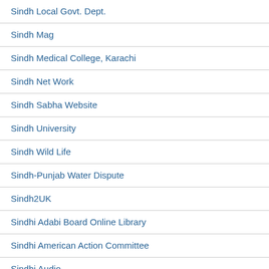Sindh Local Govt. Dept.
Sindh Mag
Sindh Medical College, Karachi
Sindh Net Work
Sindh Sabha Website
Sindh University
Sindh Wild Life
Sindh-Punjab Water Dispute
Sindh2UK
Sindhi Adabi Board Online Library
Sindhi American Action Committee
Sindhi Audio
Sindhi Boli Sahit Sabha